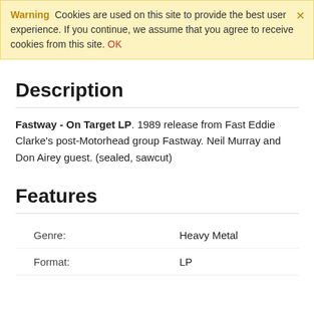Warning  Cookies are used on this site to provide the best user experience. If you continue, we assume that you agree to receive cookies from this site. OK
Description
Fastway - On Target LP. 1989 release from Fast Eddie Clarke's post-Motorhead group Fastway. Neil Murray and Don Airey guest. (sealed, sawcut)
Features
|  |  |
| --- | --- |
| Genre: | Heavy Metal |
| Format: | LP |